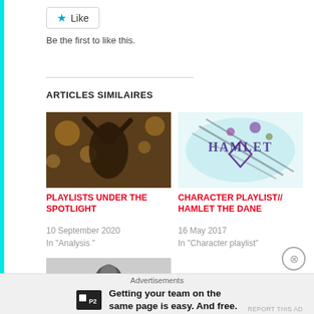Like
Be the first to like this.
ARTICLES SIMILAIRES
[Figure (photo): Two people dancing closely under bokeh lights in a dark venue]
PLAYLISTS UNDER THE SPOTLIGHT
10 September 2020
In "Analysis "
[Figure (illustration): Hamlet text logo with floral/botanical decorative elements on a light blue watercolor background]
CHARACTER PLAYLIST// HAMLET THE DANE
16 May 2017
In "Character playlist"
[Figure (photo): Black and white photo of a man wearing sunglasses]
Advertisements
Getting your team on the same page is easy. And free.